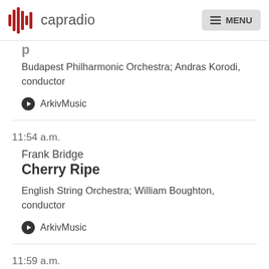capradio  MENU
Budapest Philharmonic Orchestra; Andras Korodi, conductor
ArkivMusic
11:54 a.m.
Frank Bridge
Cherry Ripe
English String Orchestra; William Boughton, conductor
ArkivMusic
11:59 a.m.
Gioachino Rossini